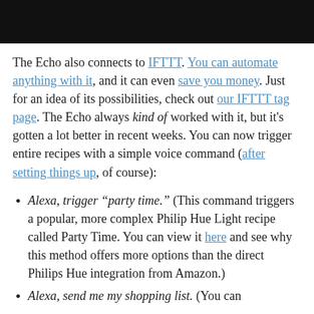[Figure (photo): Black banner image at top of page]
The Echo also connects to IFTTT. You can automate anything with it, and it can even save you money. Just for an idea of its possibilities, check out our IFTTT tag page. The Echo always kind of worked with it, but it's gotten a lot better in recent weeks. You can now trigger entire recipes with a simple voice command (after setting things up, of course):
Alexa, trigger “party time.” (This command triggers a popular, more complex Philip Hue Light recipe called Party Time. You can view it here and see why this method offers more options than the direct Philips Hue integration from Amazon.)
Alexa, send me my shopping list. (You can